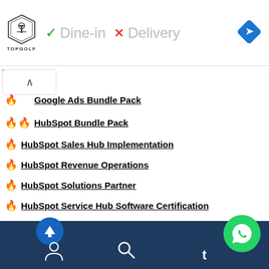[Figure (screenshot): Ad banner showing Topgolf logo, Dine-in checkmark and Delivery X marks, and a blue navigation diamond icon]
🔥🔥 Google Ads Bundle Pack
🔥🔥 HubSpot Bundle Pack
🔥 HubSpot Sales Hub Implementation
🔥 HubSpot Revenue Operations
🔥 HubSpot Solutions Partner
🔥 HubSpot Service Hub Software Certification
Search Q&A
[Figure (screenshot): Mobile app bottom navigation bar with up arrow, person icon, search icon, and WhatsApp button]